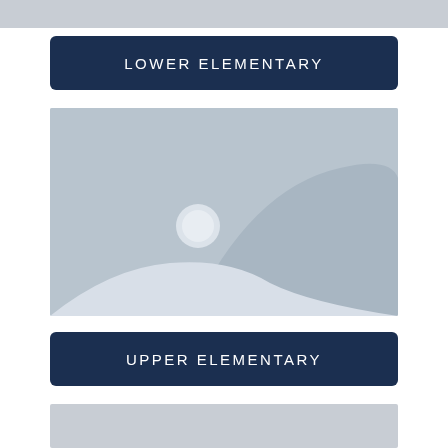LOWER ELEMENTARY
[Figure (illustration): Placeholder image with grey background showing mountain silhouette and sun icon]
UPPER ELEMENTARY